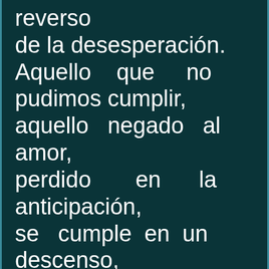reverso de la desesperación. Aquello que no pudimos cumplir, aquello negado al amor, perdido en la anticipación, se cumple en un descenso,